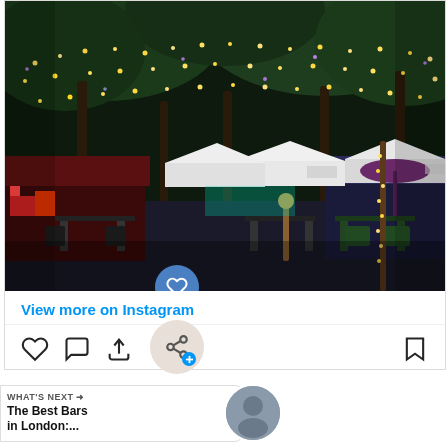[Figure (photo): Night-time outdoor bar/market scene with trees decorated with fairy lights, market stalls with gazebo tents, tables and chairs along a walkway lit with warm golden lights. Colorful signage visible on stalls.]
View more on Instagram
[Figure (other): Instagram action bar with heart (like), comment, share icons on left and bookmark icon on right. A circular share button overlay and a heart button overlay are visible. A 'WHAT'S NEXT' preview card shows 'The Best Bars in London:...' with a thumbnail photo.]